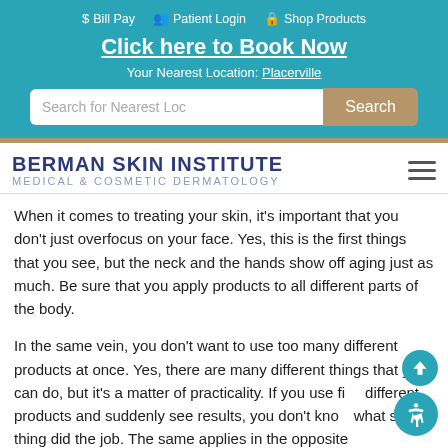$ Bill Pay  Patient Login  Shop Products
Click here to Book Now
Your Nearest Location: Placerville
Search for Nearest Location  Search
BERMAN SKIN INSTITUTE MEDICAL & COSMETIC DERMATOLOGY
When it comes to treating your skin, it's important that you don't just overfocus on your face. Yes, this is the first things that you see, but the neck and the hands show off aging just as much. Be sure that you apply products to all different parts of the body.
In the same vein, you don't want to use too many different products at once. Yes, there are many different things that you can do, but it's a matter of practicality. If you use five different products and suddenly see results, you don't know what single thing did the job. The same applies in the opposite